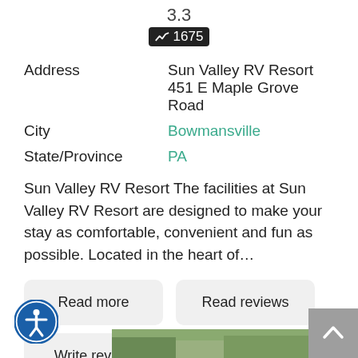3.3
1675
| Address | Sun Valley RV Resort 451 E Maple Grove Road |
| City | Bowmansville |
| State/Province | PA |
Sun Valley RV Resort The facilities at Sun Valley RV Resort are designed to make your stay as comfortable, convenient and fun as possible. Located in the heart of…
Read more
Read reviews
Write review